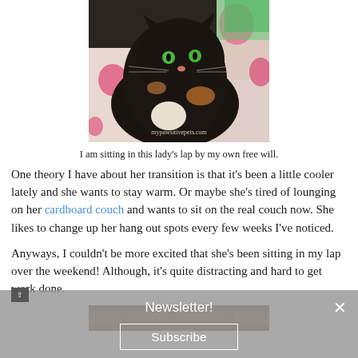[Figure (photo): A black and white cat with green eyes sitting on a polka dot fabric/blanket. Watermark reads mypawsitivepets.com]
I am sitting in this lady's lap by my own free will.
One theory I have about her transition is that it's been a little cooler lately and she wants to stay warm. Or maybe she's tired of lounging on her cardboard couch and wants to sit on the real couch now. She likes to change up her hang out spots every few weeks I've noticed.
Anyways, I couldn't be more excited that she's been sitting in my lap over the weekend! Although, it's quite distracting and hard to get work done.
[Figure (photo): Bottom portion of another photo, partially visible, showing a wooden surface]
Newsletter!
Subscribe